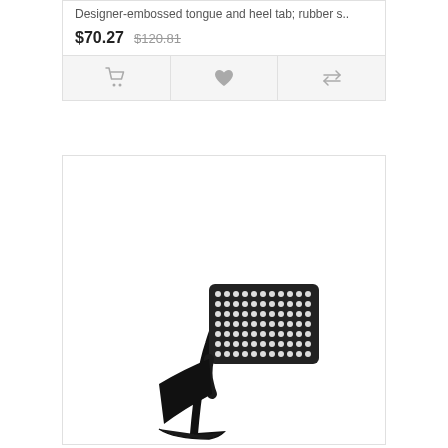Designer-embossed tongue and heel tab; rubber s..
$70.27  $120.81
[Figure (photo): A high-heel mule shoe with a black stiletto heel and a wide toe strap covered in crystal/rhinestone embellishments arranged in a grid pattern, shown on a white background.]